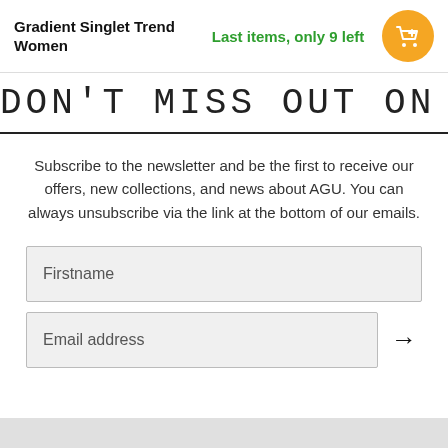Gradient Singlet Trend Women | Last items, only 9 left
DON'T MISS OUT ON AGU
Subscribe to the newsletter and be the first to receive our offers, new collections, and news about AGU. You can always unsubscribe via the link at the bottom of our emails.
Firstname
Email address